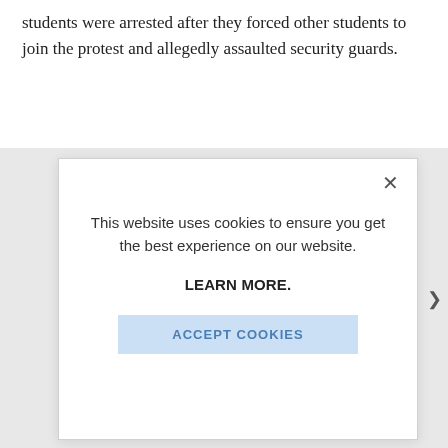students were arrested after they forced other students to join the protest and allegedly assaulted security guards.
[Figure (screenshot): Cookie consent modal dialog with close button (×), text 'This website uses cookies to ensure you get the best experience on our website.', bold link 'LEARN MORE.', and a light blue 'ACCEPT COOKIES' button.]